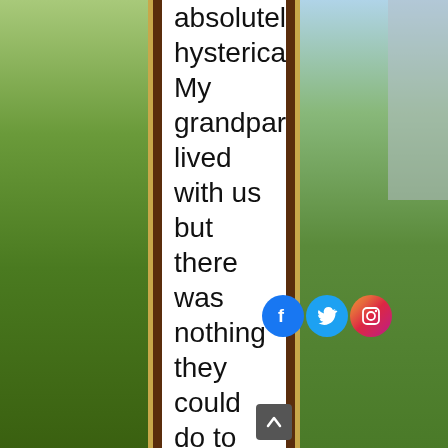[Figure (photo): Background photo split: left side shows green trees (park), right side shows green trees with buildings/cityscape visible. A dark brown vertical border with gold strip frames a central white text panel.]
absolutely hysterical. My grandparents lived with us but there was nothing they could do to console me. I cannot even
[Figure (infographic): Three social media icons overlaid on text: Facebook (blue circle with f), Twitter (blue circle with bird), Instagram (gradient circle with camera icon)]